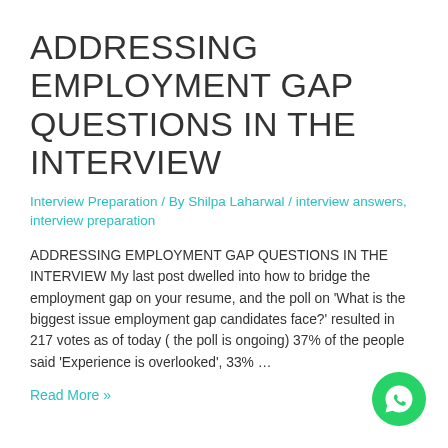ADDRESSING EMPLOYMENT GAP QUESTIONS IN THE INTERVIEW
Interview Preparation / By Shilpa Laharwal / interview answers, interview preparation
ADDRESSING EMPLOYMENT GAP QUESTIONS IN THE INTERVIEW My last post dwelled into how to bridge the employment gap on your resume, and the poll on 'What is the biggest issue employment gap candidates face?' resulted in 217 votes as of today ( the poll is ongoing) 37% of the people said 'Experience is overlooked', 33% …
Read More »